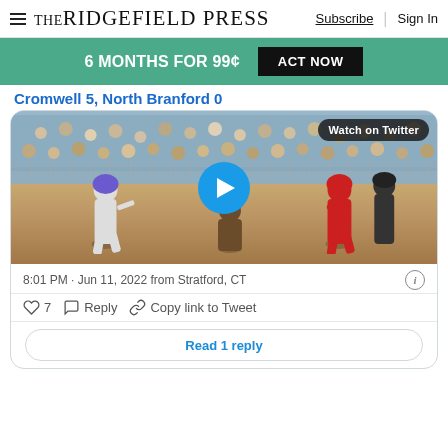The Ridgefield Press  Subscribe  Sign In
6 MONTHS FOR 99¢  ACT NOW
Cromwell 5, North Branford 0
[Figure (screenshot): Embedded Twitter/X video player showing a softball game at a stadium, with a blue play button overlay and a 'Watch on Twitter' badge. The scene shows players near home plate with a crowd in the background and a chain-link fence.]
8:01 PM · Jun 11, 2022 from Stratford, CT
♡ 7   Reply   Copy link to Tweet
Read 1 reply